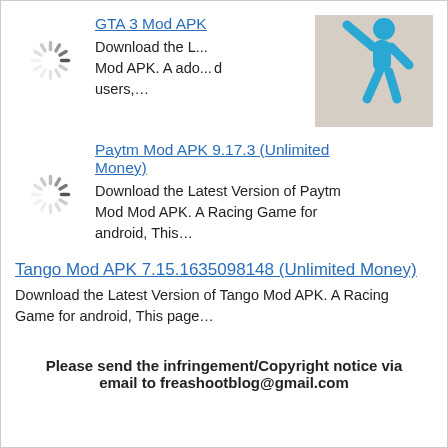GTA 3 Mod APK
Download the L... Mod APK. A ado... d users,…
[Figure (illustration): Blue stick figure person illustration on beige background]
Paytm Mod APK 9.17.3 (Unlimited Money)
Download the Latest Version of Paytm Mod Mod APK. A Racing Game for android, This…
Tango Mod APK 7.15.1635098148 (Unlimited Money)
Download the Latest Version of Tango Mod APK. A Racing Game for android, This page…
Please send the infringement/Copyright notice via email to freashootblog@gmail.com